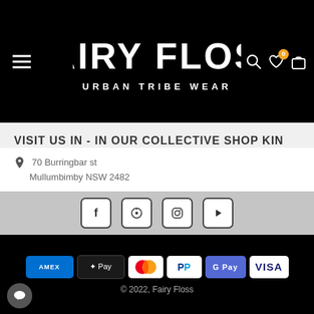Fairy Floss Urban Tribe Wear - header navigation
VISIT US IN - IN OUR COLLECTIVE SHOP KIN
📍 70 Burringbar st
Mullumbimby NSW 2482
✉ magic@fairyflossbyronbay.com
📞 Ph: 0407468990
⏰ Customer Care 24/7
[Figure (other): Social media icons: Facebook, Pinterest, Instagram, YouTube]
[Figure (other): Payment method badges: American Express, Apple Pay, Mastercard, PayPal, Google Pay, Visa]
© 2022, Fairy Floss